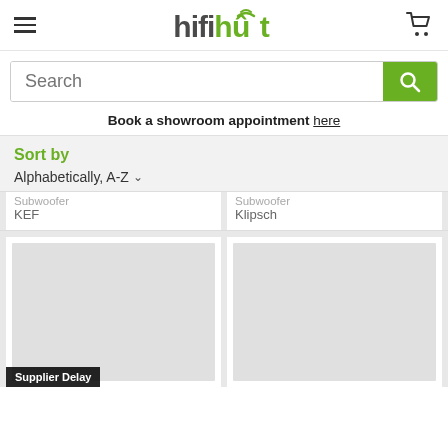hifihut
Search
Book a showroom appointment here
Sort by
Alphabetically, A-Z
Subwoofer
KEF
Subwoofer
Klipsch
[Figure (photo): Product image placeholder with Supplier Delay badge]
[Figure (photo): Product image placeholder]